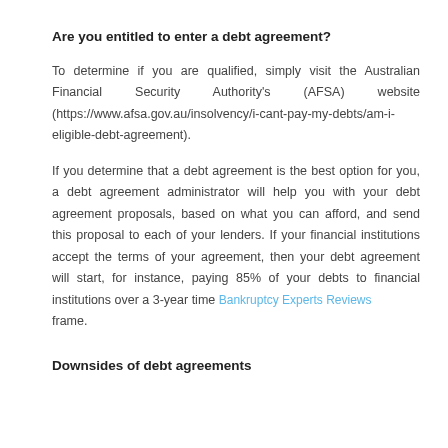Are you entitled to enter a debt agreement?
To determine if you are qualified, simply visit the Australian Financial Security Authority's (AFSA) website (https://www.afsa.gov.au/insolvency/i-cant-pay-my-debts/am-i-eligible-debt-agreement).
If you determine that a debt agreement is the best option for you, a debt agreement administrator will help you with your debt agreement proposals, based on what you can afford, and send this proposal to each of your lenders. If your financial institutions accept the terms of your agreement, then your debt agreement will start, for instance, paying 85% of your debts to financial institutions over a 3-year time frame.
Downsides of debt agreements